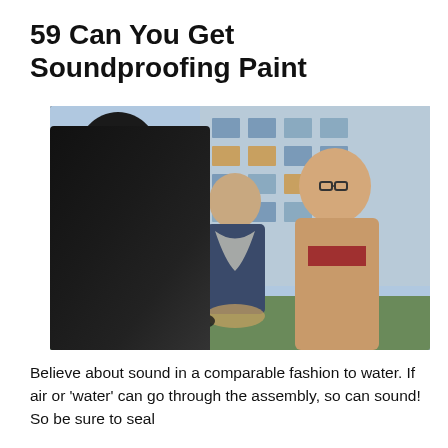59 Can You Get Soundproofing Paint
[Figure (photo): Three people shaking hands and smiling outdoors in front of a modern apartment building. A man in a black jacket on the left shakes hands with a man in a tan/beige trench coat and glasses on the right. A man with a scarf and a woman are visible in the background.]
Believe about sound in a comparable fashion to water. If air or ‘water’ can go through the assembly, so can sound! So be sure to seal